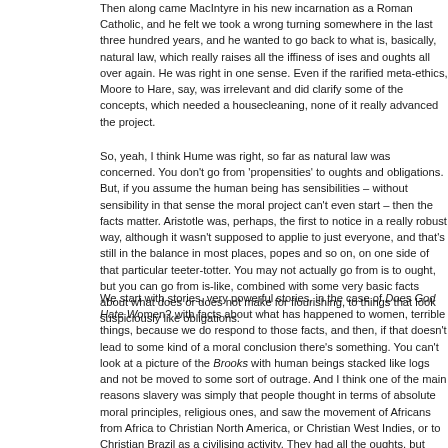Then along came MacIntyre in his new incarnation as a Roman Catholic, and he felt we took a wrong turning somewhere in the last three hundred years, and he wanted to go back to what is, basically, natural law, which really raises all the iffiness of ises and oughts all over again. He was right in one sense. Even if the rarified meta-ethics, Moore to Hare, say, was irrelevant and did clarify some of the concepts, which needed a housecleaning, none of it really advanced the project.
So, yeah, I think Hume was right, so far as natural law was concerned. You don't go from 'propensities' to oughts and obligations. But, if you assume the human being has sensibilities – without sensibility in that sense the moral project can't even start – then the facts matter. Aristotle was, perhaps, the first to notice in a really robust way, although it wasn't supposed to applie to just everyone, and that's still in the balance in most places, popes and so on, on one side of that particular teeter-totter. You may not actually go from is to ought, but you can go from is-like, combined with some very basic facts about what does or does not make for flourishing, to things that look suspiciously like obligations.
We start with stories, very powerful stories, in the case of Does God Hate Women? with facts about what has happened to women, terrible things, because we do respond to those facts, and then, if that doesn't lead to some kind of a moral conclusion there's something. You can't look at a picture of the Brooks with human beings stacked like logs and not be moved to some sort of outrage. And I think one of the main reasons slavery was simply that people thought in terms of absolute moral principles, religious ones, and saw the movement of Africans from Africa to Christian North America, or Christian West Indies, or to Christian Brazil as a civilising activity. They had all the oughts, but that's exactly what the stories at the beginning of Does God Hate Women? are doing, setting against all the religious oughts. And that's not humdrum at all.